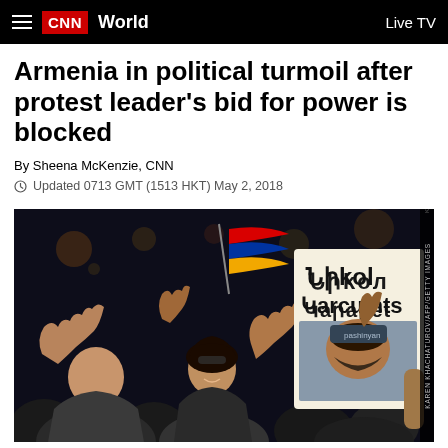CNN World  Live TV
Armenia in political turmoil after protest leader's bid for power is blocked
By Sheena McKenzie, CNN
Updated 0713 GMT (1513 HKT) May 2, 2018
[Figure (photo): Crowd of protesters at night, one person holding up a sign with Armenian text and a photo of protest leader Nikol Pashinyan, Armenian flags visible in background]